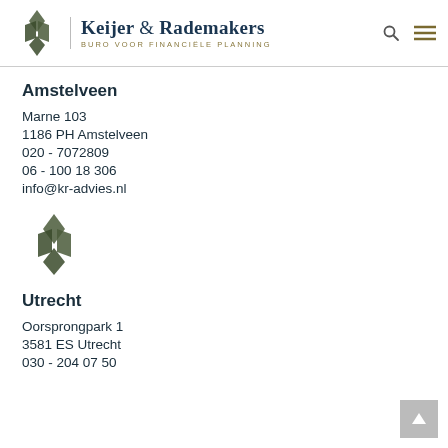Keijer & Rademakers — BURO VOOR FINANCIËLE PLANNING
Amstelveen
Marne 103
1186 PH Amstelveen
020 - 7072809
06 - 100 18 306
info@kr-advies.nl
[Figure (logo): Keijer & Rademakers diamond logo mark, smaller version]
Utrecht
Oorsprongpark 1
3581 ES Utrecht
030 - 204 07 50